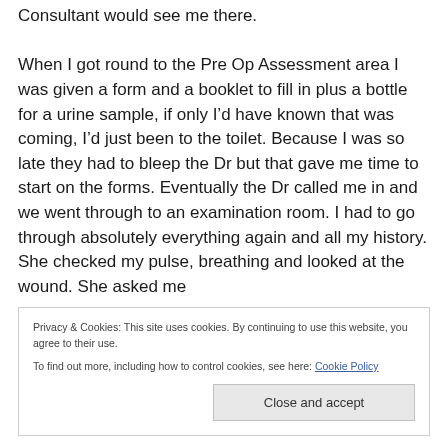Consultant would see me there.

When I got round to the Pre Op Assessment area I was given a form and a booklet to fill in plus a bottle for a urine sample, if only I’d have known that was coming, I’d just been to the toilet. Because I was so late they had to bleep the Dr but that gave me time to start on the forms. Eventually the Dr called me in and we went through to an examination room. I had to go through absolutely everything again and all my history. She checked my pulse, breathing and looked at the wound. She asked me
Privacy & Cookies: This site uses cookies. By continuing to use this website, you agree to their use.
To find out more, including how to control cookies, see here: Cookie Policy